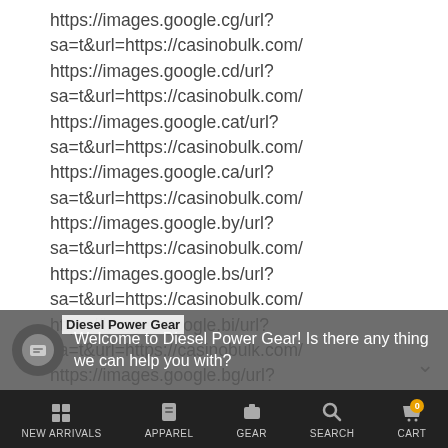https://images.google.cg/url?sa=t&url=https://casinobulk.com/
https://images.google.cd/url?sa=t&url=https://casinobulk.com/
https://images.google.cat/url?sa=t&url=https://casinobulk.com/
https://images.google.ca/url?sa=t&url=https://casinobulk.com/
https://images.google.by/url?sa=t&url=https://casinobulk.com/
https://images.google.bs/url?sa=t&url=https://casinobulk.com/
https://images.google.bi/url?sa=t&url=https://casinobulk.com/
https://images.google.bg/url?sa=t&url=https://casinobulk.com/
https://images.google.bf/url?
Diesel Power Gear
Welcome to Diesel Power Gear! Is there any thing we can help you with?
NEW ARRIVALS   APPAREL   GEAR   SEARCH   CART